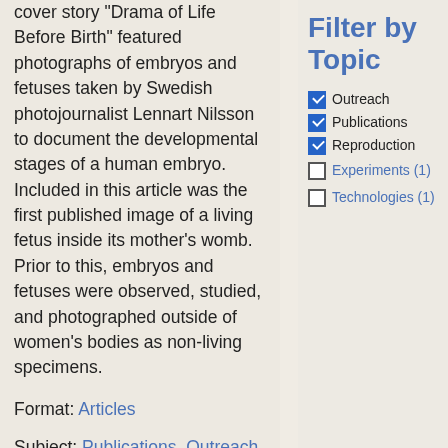cover story "Drama of Life Before Birth" featured photographs of embryos and fetuses taken by Swedish photojournalist Lennart Nilsson to document the developmental stages of a human embryo. Included in this article was the first published image of a living fetus inside its mother's womb. Prior to this, embryos and fetuses were observed, studied, and photographed outside of women's bodies as non-living specimens.
Format: Articles
Subject: Publications, Outreach, Reproduction
Filter by Topic
Outreach (checked)
Publications (checked)
Reproduction (checked)
Experiments (1) (unchecked)
Technologies (1) (unchecked)